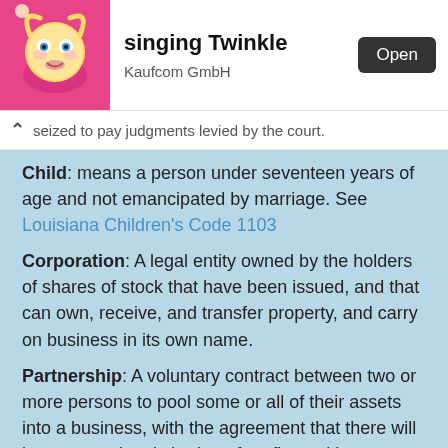[Figure (screenshot): App store banner showing 'singing Twinkle' app by Kaufcom GmbH with an Open button and cartoon character icon]
seized to pay judgments levied by the court.
Child: means a person under seventeen years of age and not emancipated by marriage. See Louisiana Children's Code 1103
Corporation: A legal entity owned by the holders of shares of stock that have been issued, and that can own, receive, and transfer property, and carry on business in its own name.
Partnership: A voluntary contract between two or more persons to pool some or all of their assets into a business, with the agreement that there will be a proportional sharing of profits and losses.
Putative father registry: means the Louisiana putative father registry established in Part I-C of Chapter 1 of Code